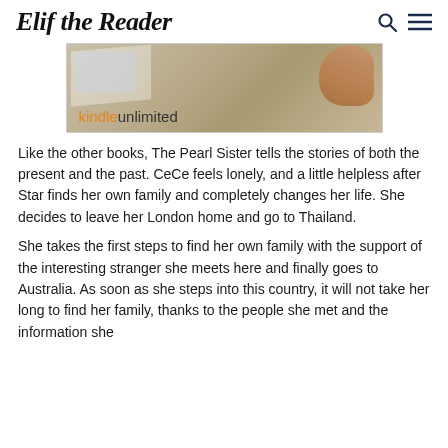Elif the Reader
[Figure (photo): Kindle Unlimited advertisement banner showing a person reading a book with the 'kindle unlimited' logo in orange and black text]
Like the other books, The Pearl Sister tells the stories of both the present and the past. CeCe feels lonely, and a little helpless after Star finds her own family and completely changes her life. She decides to leave her London home and go to Thailand.
She takes the first steps to find her own family with the support of the interesting stranger she meets here and finally goes to Australia. As soon as she steps into this country, it will not take her long to find her family, thanks to the people she met and the information she